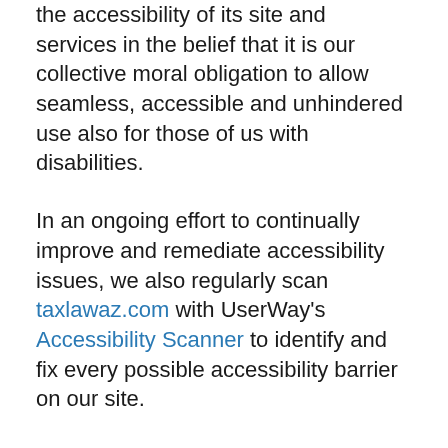the accessibility of its site and services in the belief that it is our collective moral obligation to allow seamless, accessible and unhindered use also for those of us with disabilities.
In an ongoing effort to continually improve and remediate accessibility issues, we also regularly scan taxlawaz.com with UserWay's Accessibility Scanner to identify and fix every possible accessibility barrier on our site.
Despite our efforts to make all pages and content on taxlawaz.com fully accessible, some content may not have yet been fully adapted to the strictest accessibility standards. This may be a result of not having found or identified the most appropriate technological solution.
Here For You